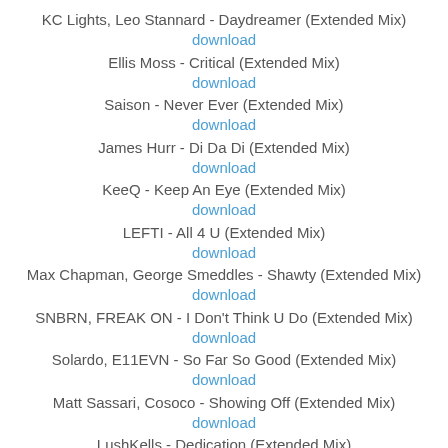KC Lights, Leo Stannard - Daydreamer (Extended Mix)
download
Ellis Moss - Critical (Extended Mix)
download
Saison - Never Ever (Extended Mix)
download
James Hurr - Di Da Di (Extended Mix)
download
KeeQ - Keep An Eye (Extended Mix)
download
LEFTI - All 4 U (Extended Mix)
download
Max Chapman, George Smeddles - Shawty (Extended Mix)
download
SNBRN, FREAK ON - I Don't Think U Do (Extended Mix)
download
Solardo, E11EVN - So Far So Good (Extended Mix)
download
Matt Sassari, Cosoco - Showing Off (Extended Mix)
download
LushKells - Dedication (Extended Mix)
download